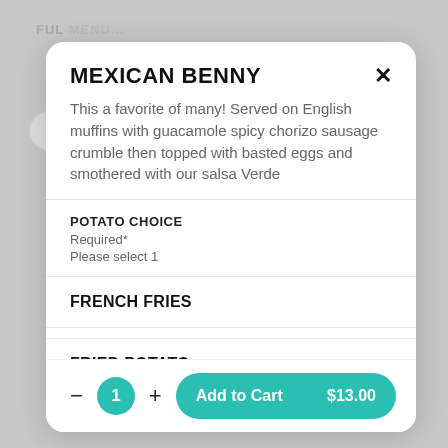MEXICAN BENNY
This a favorite of many! Served on English muffins with guacamole spicy chorizo sausage crumble then topped with basted eggs and smothered with our salsa Verde
POTATO CHOICE
Required*
Please select 1
FRENCH FRIES
FRIED POTATO
Add to Cart  $13.00